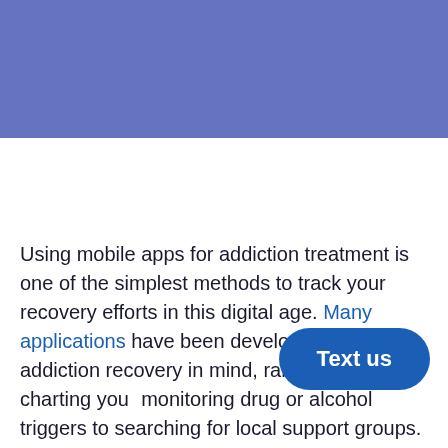[Figure (other): Blue/purple banner header area at top of page]
Using mobile apps for addiction treatment is one of the simplest methods to track your recovery efforts in this digital age. Many applications have been developed with addiction recovery in mind, ranging from charting your monitoring drug or alcohol triggers to searching for local support groups.
Text us